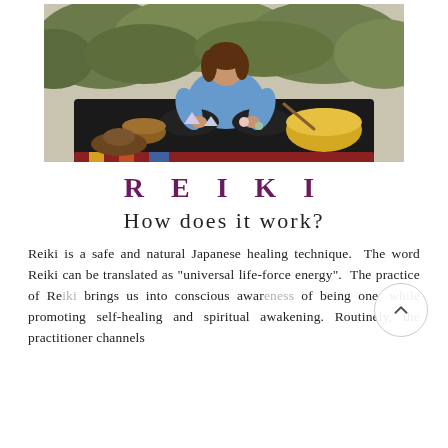[Figure (photo): Woman sitting cross-legged outdoors on a dark blanket surrounded by singing bowls and crystals, wearing a blue chambray shirt and black pants. She appears to be doing a sound healing or reiki setup in a natural garden setting.]
REIKI
How does it work?
Reiki is a safe and natural Japanese healing technique. The word Reiki can be translated as "universal life-force energy". The practice of Reiki brings us into conscious awareness of being one, while promoting self-healing and spiritual awakening. Routinely, the practitioner channels the energy from the...